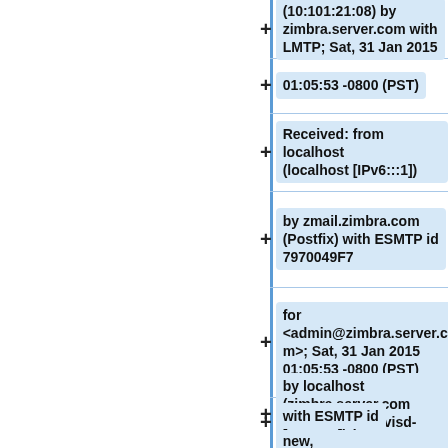(10:101:21:08) by zimbra.server.com with LMTP; Sat, 31 Jan 2015
01:05:53 -0800 (PST)
Received: from localhost (localhost [IPv6:::1])
by zmail.zimbra.com (Postfix) with ESMTP id 7970049F7
for <admin@zimbra.server.com>; Sat, 31 Jan 2015 01:05:53 -0800 (PST)
by localhost (zimbra.server.com [IPv6:::1]) (amavisd-new, port 10032)
with ESMTP id